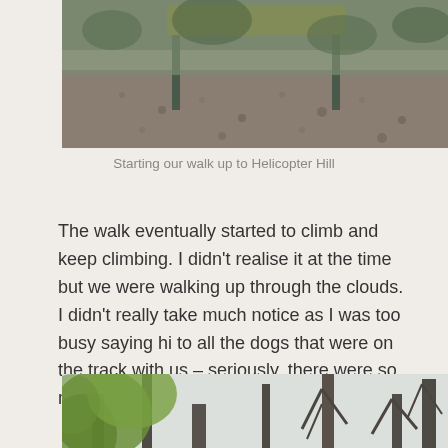[Figure (photo): Photo of a rocky path with a signpost, starting the walk up to Helicopter Hill]
Starting our walk up to Helicopter Hill
The walk eventually started to climb and keep climbing. I didn't realise it at the time but we were walking up through the clouds. I didn't really take much notice as I was too busy saying hi to all the dogs that were on the track with us – seriously, there were so many!
[Figure (photo): Photo looking up through misty trees with green foliage and tall bare trees in fog]